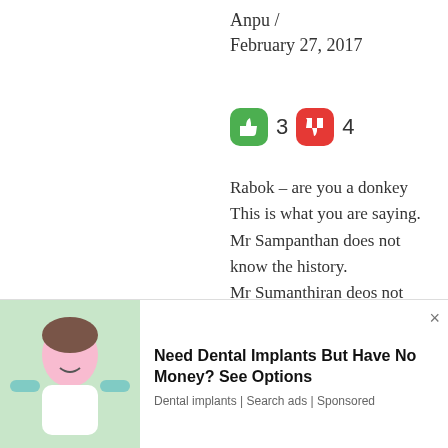Anpu /
February 27, 2017
[Figure (infographic): Green thumbs-up icon with count 3 and red thumbs-down icon with count 4]
Rabok – are you a donkey
This is what you are saying.
Mr Sampanthan does not know the history.
Mr Sumanthiran deos not know the history
...
Only Antony Peter
[Figure (infographic): Advertisement overlay: Need Dental Implants But Have No Money? See Options. Dental implants | Search ads | Sponsored. Shows image of woman at dentist.]